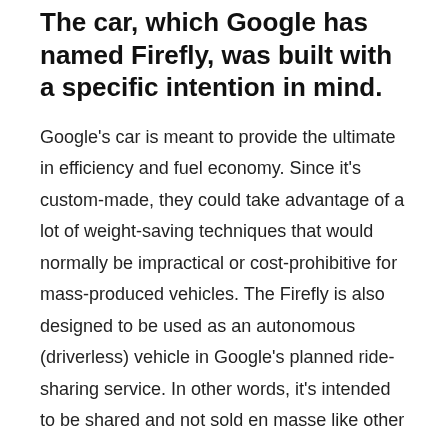The car, which Google has named Firefly, was built with a specific intention in mind.
Google's car is meant to provide the ultimate in efficiency and fuel economy. Since it's custom-made, they could take advantage of a lot of weight-saving techniques that would normally be impractical or cost-prohibitive for mass-produced vehicles. The Firefly is also designed to be used as an autonomous (driverless) vehicle in Google's planned ride-sharing service. In other words, it's intended to be shared and not sold en masse like other cars.
The Firefly was built with these goals in mind:
Seating for only two passengers, who sit in